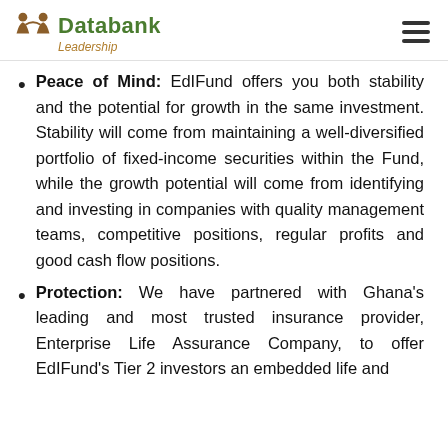Databank Leadership
Peace of Mind: EdIFund offers you both stability and the potential for growth in the same investment. Stability will come from maintaining a well-diversified portfolio of fixed-income securities within the Fund, while the growth potential will come from identifying and investing in companies with quality management teams, competitive positions, regular profits and good cash flow positions.
Protection: We have partnered with Ghana's leading and most trusted insurance provider, Enterprise Life Assurance Company, to offer EdIFund's Tier 2 investors an embedded life and